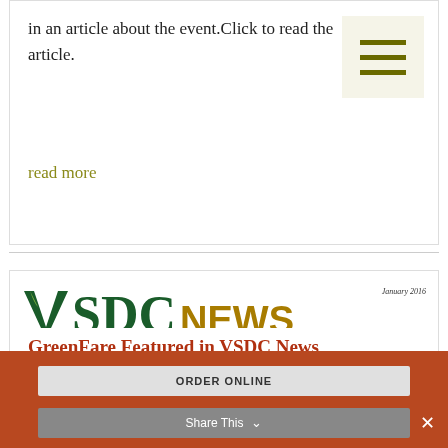in an article about the event.Click to read the article.
read more
[Figure (other): Hamburger menu icon with three horizontal olive-green lines on a light beige background]
[Figure (other): VSDC NEWS newsletter header. January 2016. Logo with green VSDC and gold NEWS text. Tagline: THE NEWSLETTER OF THE VEGETARIAN SOCIETY OF DC. Inside banner with '41st Life-Affirming Thanksgiving Recap'.]
GreenFare Featured in VSDC News
ORDER ONLINE   Share This ×